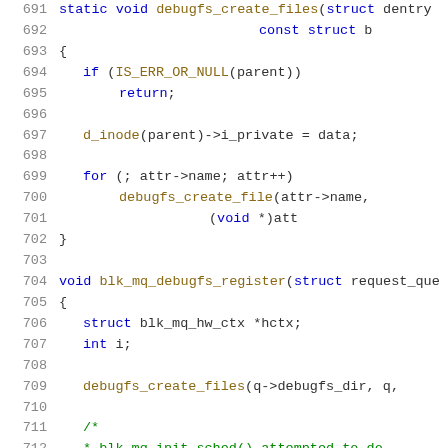[Figure (screenshot): Source code screenshot showing C code for debugfs_create_files and blk_mq_debugfs_register functions, lines 691-712, with syntax highlighting: blue keywords, brown/gold function names, green comments, grey line numbers.]